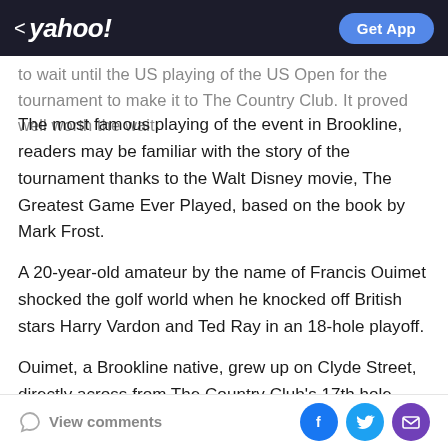< yahoo! | Get App
to wait until the US playing of the US Open for the tournament to make it to The Country Club. It proved well worth the wait.
The most famous playing of the event in Brookline, readers may be familiar with the story of the tournament thanks to the Walt Disney movie, The Greatest Game Ever Played, based on the book by Mark Frost.
A 20-year-old amateur by the name of Francis Ouimet shocked the golf world when he knocked off British stars Harry Vardon and Ted Ray in an 18-hole playoff.
Ouimet, a Brookline native, grew up on Clyde Street, directly across from The Country Club's 17th hole. From
View comments